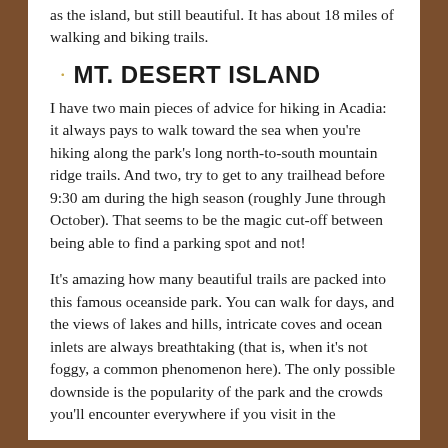as the island, but still beautiful. It has about 18 miles of walking and biking trails.
MT. DESERT ISLAND
I have two main pieces of advice for hiking in Acadia: it always pays to walk toward the sea when you're hiking along the park's long north-to-south mountain ridge trails. And two, try to get to any trailhead before 9:30 am during the high season (roughly June through October). That seems to be the magic cut-off between being able to find a parking spot and not!
It's amazing how many beautiful trails are packed into this famous oceanside park. You can walk for days, and the views of lakes and hills, intricate coves and ocean inlets are always breathtaking (that is, when it's not foggy, a common phenomenon here). The only possible downside is the popularity of the park and the crowds you'll encounter everywhere if you visit in the